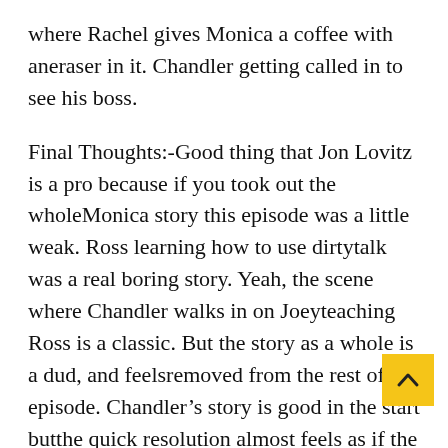where Rachel gives Monica a coffee with aneraser in it. Chandler getting called in to see his boss.
Final Thoughts:-Good thing that Jon Lovitz is a pro because if you took out the wholeMonica story this episode was a little weak. Ross learning how to use dirtytalk was a real boring story. Yeah, the scene where Chandler walks in on Joeyteaching Ross is a classic. But the story as a whole is a dud, and feelsremoved from the rest of the episode. Chandlerâ€™s story is good in the start butthe quick resolution almost feels as if the writ gave up. But thankfullythis story becomes very important for the character so I can let it